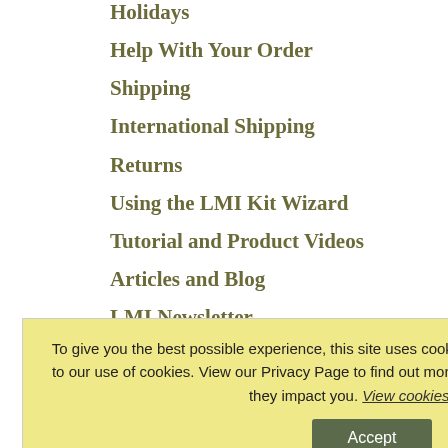Holidays
Help With Your Order
Shipping
International Shipping
Returns
Using the LMI Kit Wizard
Tutorial and Product Videos
Articles and Blog
LMI Newsletter
Shop Services – Customizations
I want to build a guitar! How do I begin?
Resources
Privacy Policy
List of Wood Species
To give you the best possible experience, this site uses cookies. Using our site means you agree to our use of cookies. View our Privacy Page to find out more about the cookies we use and how they impact you. View cookies policy.